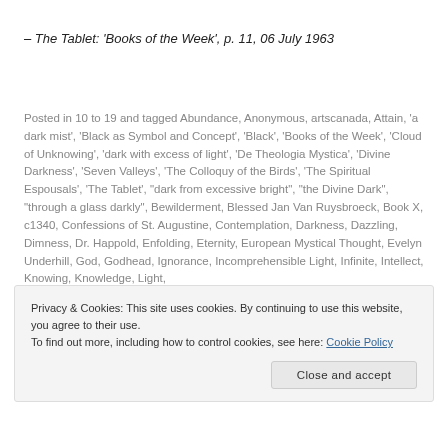– The Tablet: 'Books of the Week', p. 11, 06 July 1963
Posted in 10 to 19 and tagged Abundance, Anonymous, artscanada, Attain, 'a dark mist', 'Black as Symbol and Concept', 'Black', 'Books of the Week', 'Cloud of Unknowing', 'dark with excess of light', 'De Theologia Mystica', 'Divine Darkness', 'Seven Valleys', 'The Colloquy of the Birds', 'The Spiritual Espousals', 'The Tablet', "dark from excessive bright", "the Divine Dark", "through a glass darkly", Bewilderment, Blessed Jan Van Ruysbroeck, Book X, c1340, Confessions of St. Augustine, Contemplation, Darkness, Dazzling, Dimness, Dr. Happold, Enfolding, Eternity, European Mystical Thought, Evelyn Underhill, God, Godhead, Ignorance, Incomprehensible Light, Infinite, Intellect, Knowing, Knowledge, Light,
Privacy & Cookies: This site uses cookies. By continuing to use this website, you agree to their use.
To find out more, including how to control cookies, see here: Cookie Policy
Close and accept